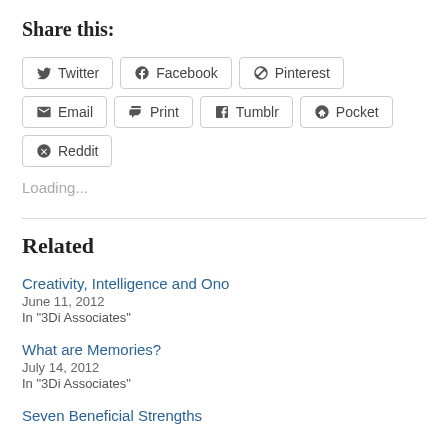Share this:
Twitter | Facebook | Pinterest | Email | Print | Tumblr | Pocket | Reddit
Loading...
Related
Creativity, Intelligence and Ono
June 11, 2012
In "3Di Associates"
What are Memories?
July 14, 2012
In "3Di Associates"
Seven Beneficial Strengths